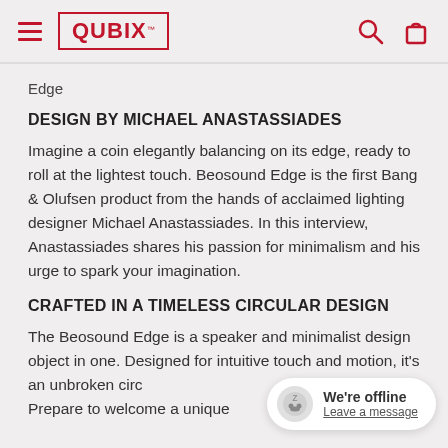QUBIX
Edge
DESIGN BY MICHAEL ANASTASSIADES
Imagine a coin elegantly balancing on its edge, ready to roll at the lightest touch. Beosound Edge is the first Bang & Olufsen product from the hands of acclaimed lighting designer Michael Anastassiades. In this interview, Anastassiades shares his passion for minimalism and his urge to spark your imagination.
CRAFTED IN A TIMELESS CIRCULAR DESIGN
The Beosound Edge is a speaker and minimalist design object in one. Designed for intuitive touch and motion, it's an unbroken circ... Prepare to welcome a unique...